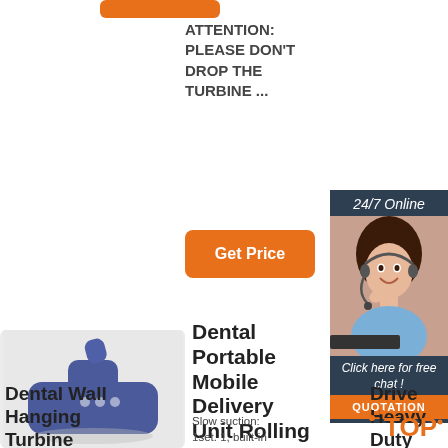[Figure (illustration): Orange rounded rectangle bar at top left]
ATTENTION: PLEASE DON'T DROP THE TURBINE ...
[Figure (illustration): Orange 'Get Price' button]
[Figure (illustration): 24/7 Online support panel with woman in headset, 'Click here for free chat!' text, and orange QUOTATION button]
[Figure (photo): Blue dental wall hanging turbine unit product image on grey background]
Dental Wall Hanging Turbine Unit Work With
Dental Portable Mobile Delivery Unit Rolling Box Air ...
Slow suction: 1set. 1, built-in cylinder (as
Drive Heavy Duty Suction Machine - Drive